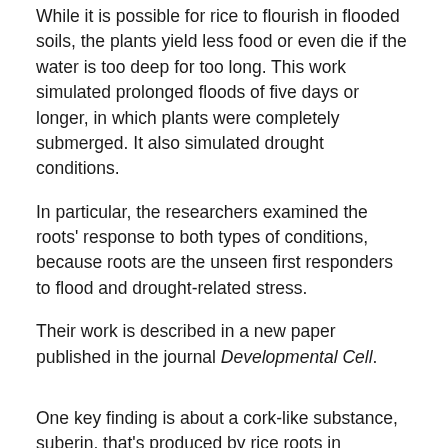While it is possible for rice to flourish in flooded soils, the plants yield less food or even die if the water is too deep for too long. This work simulated prolonged floods of five days or longer, in which plants were completely submerged. It also simulated drought conditions.
In particular, the researchers examined the roots' response to both types of conditions, because roots are the unseen first responders to flood and drought-related stress.
Their work is described in a new paper published in the journal Developmental Cell.
One key finding is about a cork-like substance, suberin, that's produced by rice roots in response to stress. It helps protect from floods as well as from drought.
“Suberin is a lipid molecule that helps any water drawn up